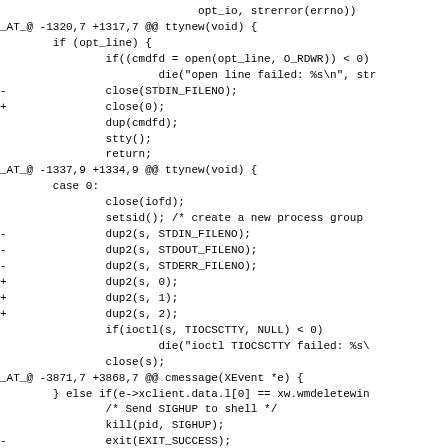A code diff showing changes to ttynew() and cmessage() functions, replacing named constants (STDIN_FILENO, STDOUT_FILENO, STDERR_FILENO, EXIT_SUCCESS) with their numeric equivalents (0, 1, 2, 0).